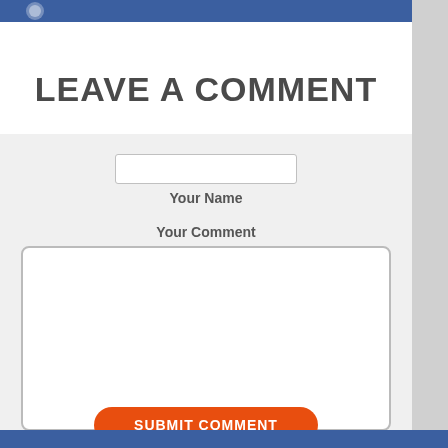LEAVE A COMMENT
Your Name
Your Comment
SUBMIT COMMENT